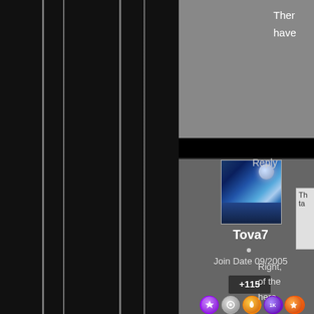[Figure (screenshot): Dark forum/community website screenshot showing vertical lines on left panel, user profile card for 'Tova7' with avatar, join date 09/2005, reputation +115, badges, and partial text content on the right side.]
Ther have
Reply
Tova7
Join Date 09/2005
+115
Right, of the here, Why?